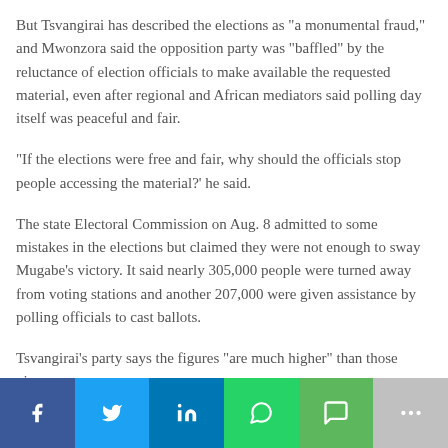But Tsvangirai has described the elections as "a monumental fraud," and Mwonzora said the opposition party was "baffled" by the reluctance of election officials to make available the requested material, even after regional and African mediators said polling day itself was peaceful and fair.
"If the elections were free and fair, why should the officials stop people accessing the material?' he said.
The state Electoral Commission on Aug. 8 admitted to some mistakes in the elections but claimed they were not enough to sway Mugabe's victory. It said nearly 305,000 people were turned away from voting stations and another 207,000 were given assistance by polling officials to cast ballots.
Tsvangirai's party says the figures "are much higher" than those given
[Figure (other): Social media sharing bar with buttons for Facebook, Twitter, LinkedIn, WhatsApp, SMS, and More]